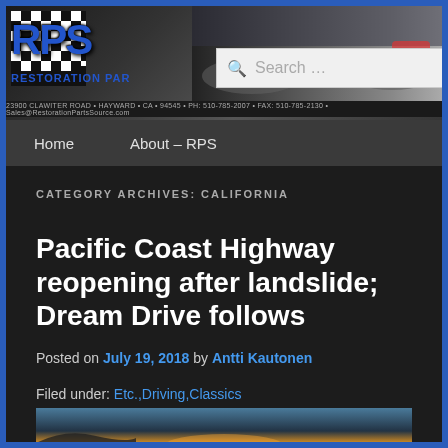[Figure (screenshot): RPS Restoration Parts Source website header banner with logo, classic cars, and search box]
23900 CLAWITER ROAD • HAYWARD • CA • 94545 • PH: 510-785-2007 • FAX: 510-785-2130 • Sales@RestorationPartsSource.com
Home   About – RPS
CATEGORY ARCHIVES: CALIFORNIA
Pacific Coast Highway reopening after landslide; Dream Drive follows
Posted on July 19, 2018 by Antti Kautonen
Filed under: Etc.,Driving,Classics
[Figure (photo): Sunset coastal landscape photo preview at bottom of page]